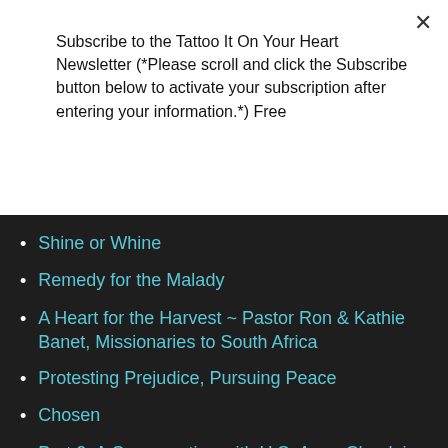Subscribe to the Tattoo It On Your Heart Newsletter (*Please scroll and click the Subscribe button below to activate your subscription after entering your information.*) Free
Subscribe
Shine or Whine
Remedy for the Malady
A Heart for the Harvest ~ Pastor Ron & Kathie Banet, Missionaries to South Africa
Protesting Prejudice, Pursuing Peace
Chosen
Part 2: A Conversation with U.S. Army Chaplain, Special Needs Parent and Writer Brad Lee
Part 1: A Conversation with U.S. Army Chaplain, Special Needs Parent and Writer Brad Lee